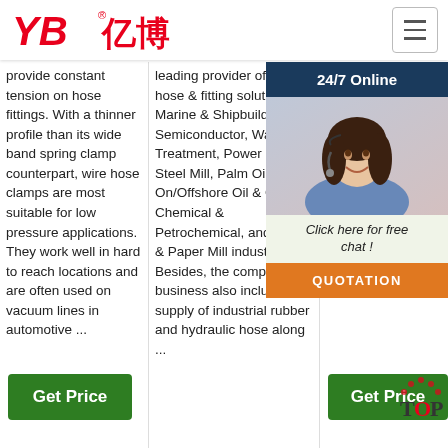[Figure (logo): YB亿博 logo in red with registered trademark symbol]
provide constant tension on hose fittings. With a thinner profile than its wide band spring clamp counterpart, wire hose clamps are most suitable for low pressure applications. They work well in hard to reach locations and are often used on vacuum lines in automotive ...
leading provider of flexible hose & fitting solutions in Marine & Shipbuilding, Semiconductor, Water Treatment, Power Plant, Steel Mill, Palm Oil Mill, On/Offshore Oil & Gas, Chemical & Petrochemical, and Pulp & Paper Mill industries. Besides, the company's business also include supply of industrial rubber and hydraulic hose along ...
resistance. Good flexibility. More durable. double hose 94V... retardant coating ... for h &/o... resi... Ava... size... tea... ...
[Figure (photo): 24/7 Online chat overlay with woman wearing headset, blue background header, click here for free chat text, and QUOTATION orange button]
Get Price
Get Price